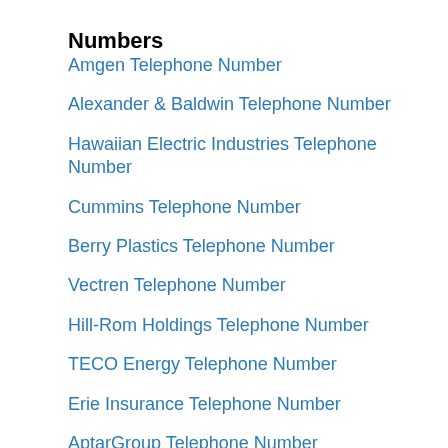Numbers
Amgen Telephone Number
Alexander & Baldwin Telephone Number
Hawaiian Electric Industries Telephone Number
Cummins Telephone Number
Berry Plastics Telephone Number
Vectren Telephone Number
Hill-Rom Holdings Telephone Number
TECO Energy Telephone Number
Erie Insurance Telephone Number
AptarGroup Telephone Number